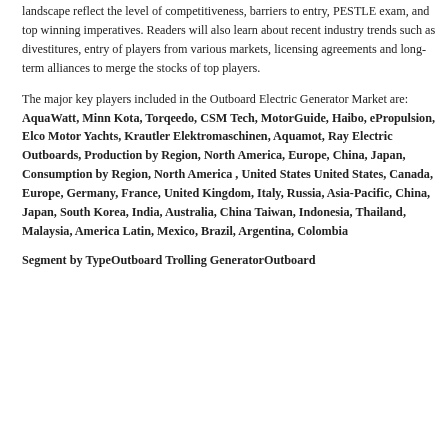landscape reflect the level of competitiveness, barriers to entry, PESTLE exam, and top winning imperatives. Readers will also learn about recent industry trends such as divestitures, entry of players from various markets, licensing agreements and long-term alliances to merge the stocks of top players.
The major key players included in the Outboard Electric Generator Market are: AquaWatt, Minn Kota, Torqeedo, CSM Tech, MotorGuide, Haibo, ePropulsion, Elco Motor Yachts, Krautler Elektromaschinen, Aquamot, Ray Electric Outboards, Production by Region, North America, Europe, China, Japan, Consumption by Region, North America , United States United States, Canada, Europe, Germany, France, United Kingdom, Italy, Russia, Asia-Pacific, China, Japan, South Korea, India, Australia, China Taiwan, Indonesia, Thailand, Malaysia, America Latin, Mexico, Brazil, Argentina, Colombia
Segment by TypeOutboard Trolling GeneratorOutboard